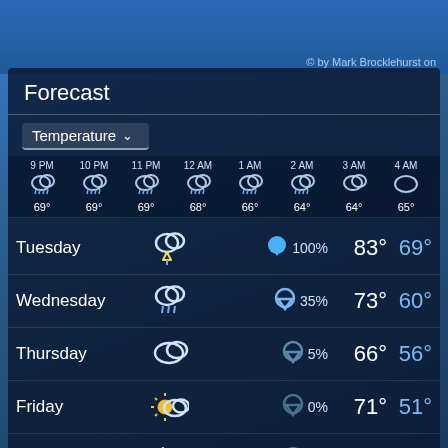© by Mark Brocklehurst on
Forecast
Temperature ∨
| Time | Icon | Temp |
| --- | --- | --- |
| 9 PM | rain | 69° |
| 10 PM | rain | 69° |
| 11 PM | rain | 69° |
| 12 AM | rain | 68° |
| 1 AM | rain | 66° |
| 2 AM | rain | 64° |
| 3 AM | cloudy | 64° |
| 4 AM | cloudy | 65° |
| Day | Icon | Precip | High | Low |
| --- | --- | --- | --- | --- |
| Tuesday | thunderstorm | 100% | 83° | 69° |
| Wednesday | rain | 35% | 73° | 60° |
| Thursday | cloudy | 5% | 66° | 56° |
| Friday | partly-sunny | 0% | 71° | 51° |
| Saturday | partly-cloudy | 0% | 77° | 55° |
| Sunday | cloudy | 15% | 66° | 55° |
| Monday | partly-sunny | 0% | 68° | 53° |